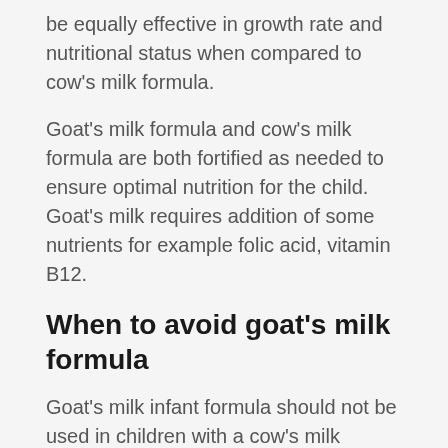be equally effective in growth rate and nutritional status when compared to cow's milk formula.
Goat's milk formula and cow's milk formula are both fortified as needed to ensure optimal nutrition for the child. Goat's milk requires addition of some nutrients for example folic acid, vitamin B12.
When to avoid goat's milk formula
Goat's milk infant formula should not be used in children with a cow's milk lactose allergy, as some children are allergic to both.
Why Australian parents